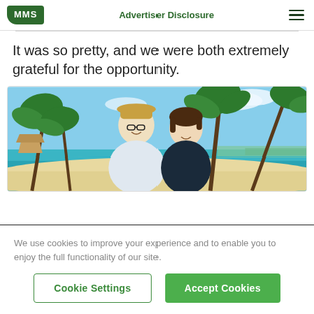MMS | Advertiser Disclosure
It was so pretty, and we were both extremely grateful for the opportunity.
[Figure (photo): A couple (man with hat and glasses, woman with short brown hair) smiling on a tropical beach with palm trees, thatched huts, white sand, and turquoise water in the background.]
We use cookies to improve your experience and to enable you to enjoy the full functionality of our site.